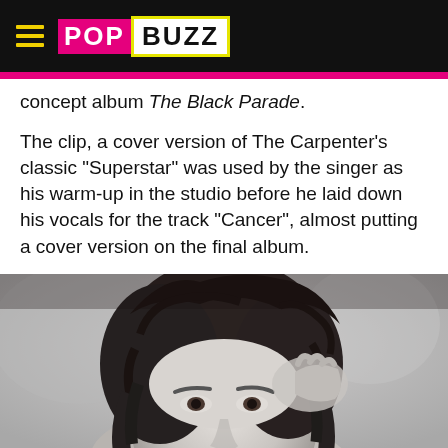[Figure (logo): PopBuzz logo with hamburger menu on black background]
concept album The Black Parade.
The clip, a cover version of The Carpenter's classic "Superstar" was used by the singer as his warm-up in the studio before he laid down his vocals for the track "Cancer", almost putting a cover version on the final album.
[Figure (photo): Black and white close-up portrait photo of a person with dark hair]